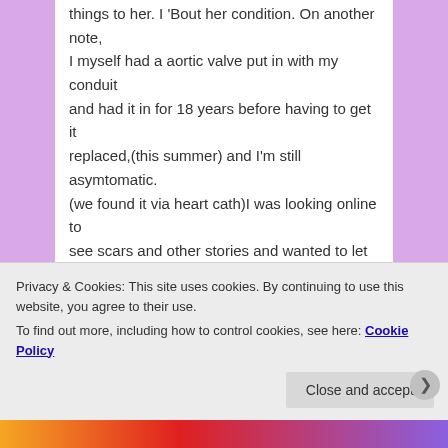things to her. I 'Bout her condition. On another note, I myself had a aortic valve put in with my conduit and had it in for 18 years before having to get it replaced,(this summer) and I'm still asymtomatic. (we found it via heart cath)I was looking online to see scars and other stories and wanted to let you know that having a blog and showing pictures of progress comforted me. To know that there are other people out there that have what I have and are healing well is amazing. You were very lucky to have Charlott in 2005 and not in the 80's. Medical discoveries and advancements have come so far. I didn't get to read your entire blog but just wanted to comment. You're not alone and you're doing a wonderful job. Please feel free to
Privacy & Cookies: This site uses cookies. By continuing to use this website, you agree to their use.
To find out more, including how to control cookies, see here: Cookie Policy
Close and accept